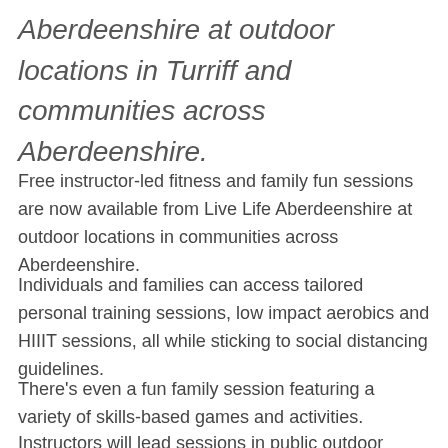Aberdeenshire at outdoor locations in Turriff and communities across Aberdeenshire.
Free instructor-led fitness and family fun sessions are now available from Live Life Aberdeenshire at outdoor locations in communities across Aberdeenshire.
Individuals and families can access tailored personal training sessions, low impact aerobics and HIIIT sessions, all while sticking to social distancing guidelines.
There's even a fun family session featuring a variety of skills-based games and activities.
Instructors will lead sessions in public outdoor spaces